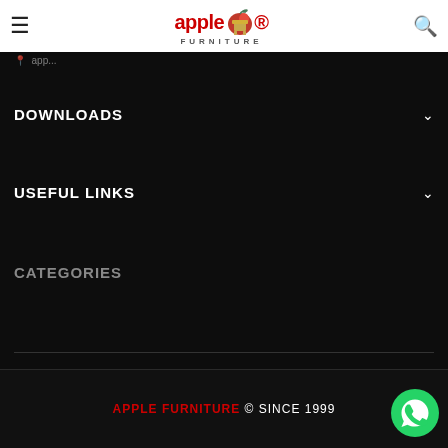Apple Furniture — header with hamburger menu, logo, and search icon
DOWNLOADS
USEFUL LINKS
CATEGORIES
APPLE FURNITURE © SINCE 1999